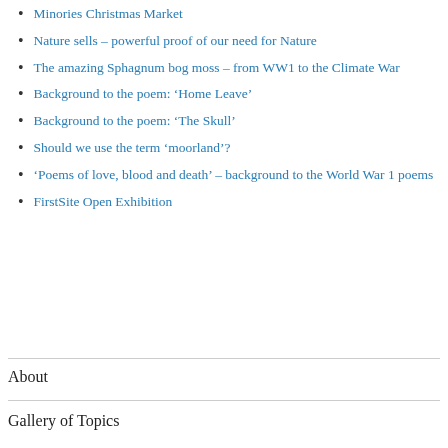Minories Christmas Market
Nature sells – powerful proof of our need for Nature
The amazing Sphagnum bog moss – from WW1 to the Climate War
Background to the poem: ‘Home Leave’
Background to the poem: ‘The Skull’
Should we use the term ‘moorland’?
‘Poems of love, blood and death’ – background to the World War 1 poems
FirstSite Open Exhibition
About
Gallery of Topics